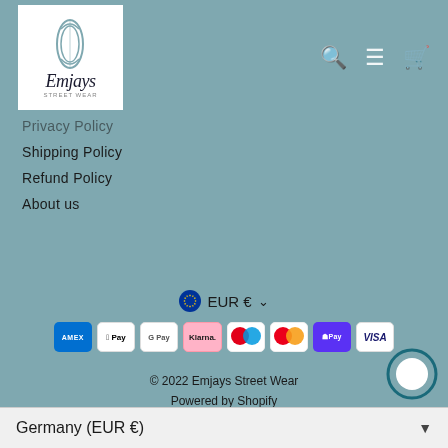[Figure (logo): Emjays Street Wear logo with surfboard shape and script text]
Privacy Policy
Shipping Policy
Refund Policy
About us
EUR € ▾
[Figure (other): Payment method icons: American Express, Apple Pay, Google Pay, Klarna, Maestro, Mastercard, ShopPay, Visa]
© 2022 Emjays Street Wear
Powered by Shopify
Germany (EUR €)